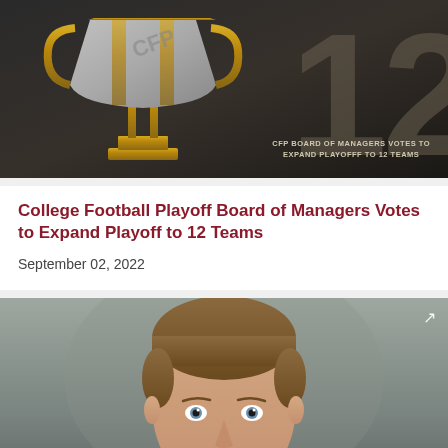[Figure (photo): CFP trophy with large '12' overlay and text 'CFP BOARD OF MANAGERS VOTES TO EXPAND PLAYOFFF TO 12 TEAMS']
College Football Playoff Board of Managers Votes to Expand Playoff to 12 Teams
September 02, 2022
[Figure (photo): Headshot of a young man with short brown hair and blue eyes against a gray background]